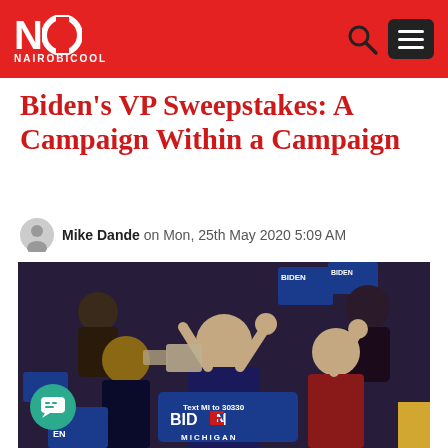NAIROBICOOL
Biden's VP Sweepstakes: A Campaign Within a Campaign
Mike Dande on Mon, 25th May 2020 5:09 AM
[Figure (photo): Joe Biden on stage at a campaign rally with supporters holding Biden signs, flanked by two women; a podium reads 'Text MI to 30330 BIDEN MICHIGAN']